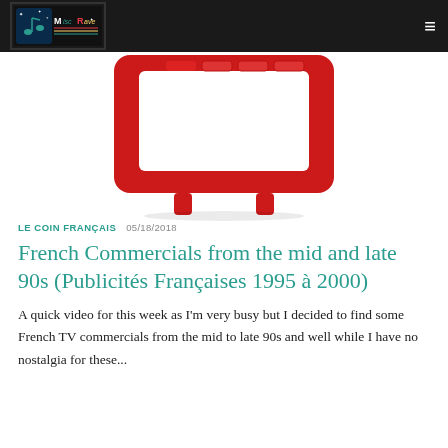MiscRave logo and navigation
[Figure (illustration): Red stylized retro television set illustration on white background, showing the top portion with screen and frame in red]
LE COIN FRANÇAIS  05/18/2018
French Commercials from the mid and late 90s (Publicités Françaises 1995 à 2000)
A quick video for this week as I'm very busy but I decided to find some French TV commercials from the mid to late 90s and well while I have no nostalgia for these...